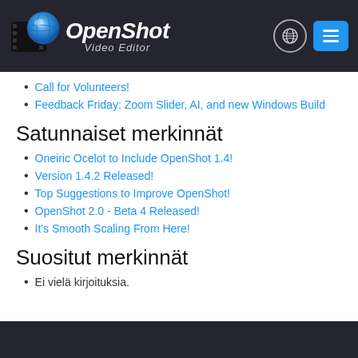[Figure (logo): OpenShot Video Editor logo with blue sphere icon and white italic text on dark background header]
Call for Volunteers!
Feedback Friday: Zoom Slider, AI, and new Windows Build
Satunnaiset merkinnät
Oneiric Ocelot to Include OpenShot 1.4!
Version 1.4.2 Released!
Top Suggestions to Improve OpenShot!
OpenShot 2.0 - Beta 4 Released!
It's Smooth Scaling From Here!
Suositut merkinnät
Ei vielä kirjoituksia.